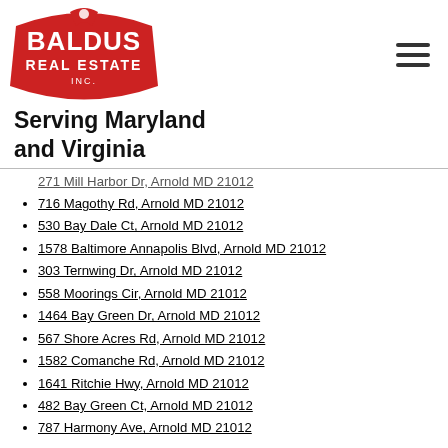[Figure (logo): Baldus Real Estate Inc. logo — red badge shape with white text 'BALDUS REAL ESTATE INC.']
Serving Maryland and Virginia
271 Mill Harbor Dr, Arnold MD 21012 (partial, top cut off)
716 Magothy Rd, Arnold MD 21012
530 Bay Dale Ct, Arnold MD 21012
1578 Baltimore Annapolis Blvd, Arnold MD 21012
303 Ternwing Dr, Arnold MD 21012
558 Moorings Cir, Arnold MD 21012
1464 Bay Green Dr, Arnold MD 21012
567 Shore Acres Rd, Arnold MD 21012
1582 Comanche Rd, Arnold MD 21012
1641 Ritchie Hwy, Arnold MD 21012
482 Bay Green Ct, Arnold MD 21012
787 Harmony Ave, Arnold MD 21012